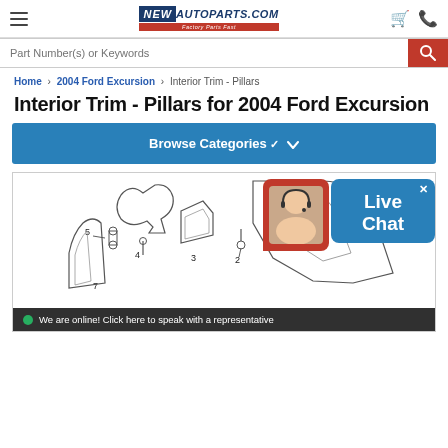NewAutoparts.com
Part Number(s) or Keywords
Home > 2004 Ford Excursion > Interior Trim - Pillars
Interior Trim - Pillars for 2004 Ford Excursion
Browse Categories
[Figure (engineering-diagram): Exploded parts diagram for Interior Trim - Pillars for 2004 Ford Excursion, showing numbered parts 1-7 with assembly positions]
We are online! Click here to speak with a representative